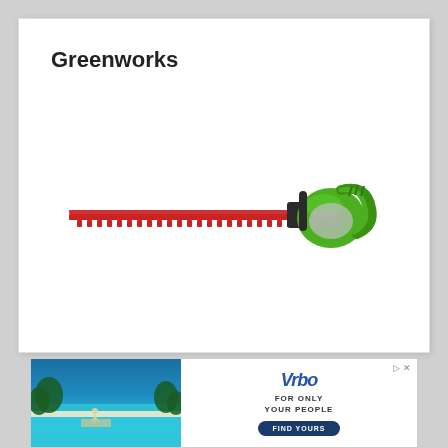Greenworks
[Figure (photo): Greenworks battery-powered hedge trimmer with green body and long red serrated blade, shown in profile view against white background]
[Figure (photo): Advertisement for Vrbo vacation rentals showing a tropical infinity pool overlooking the ocean with people jumping in, with text FOR ONLY YOUR PEOPLE and FIND YOURS button]